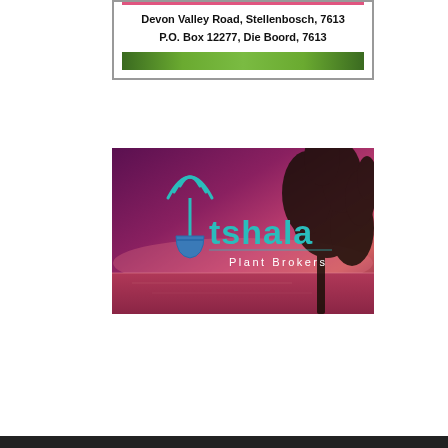[Figure (logo): Top portion of a business card or advertisement with a pink/red horizontal line, bold address text reading 'Devon Valley Road, Stellenbosch, 7613' and 'P.O. Box 12277, Die Boord, 7613', bordered box with green foliage strip at bottom]
Devon Valley Road, Stellenbosch, 7613
P.O. Box 12277, Die Boord, 7613
[Figure (logo): Tshala Plant Brokers logo banner: purple-magenta sunset background with tree silhouette on right, teal/cyan shovel-antenna logo mark on left, text 'tshala' in teal and 'Plant Brokers' in white below]